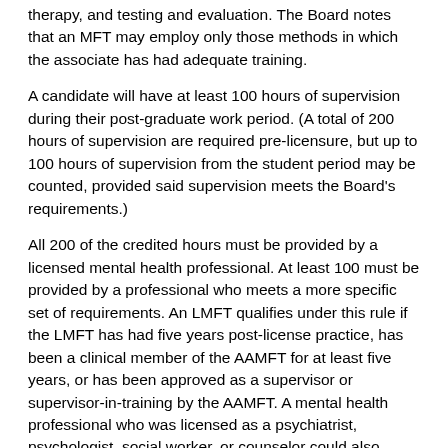therapy, and testing and evaluation. The Board notes that an MFT may employ only those methods in which the associate has had adequate training.
A candidate will have at least 100 hours of supervision during their post-graduate work period. (A total of 200 hours of supervision are required pre-licensure, but up to 100 hours of supervision from the student period may be counted, provided said supervision meets the Board's requirements.)
All 200 of the credited hours must be provided by a licensed mental health professional. At least 100 must be provided by a professional who meets a more specific set of requirements. An LMFT qualifies under this rule if the LMFT has had five years post-license practice, has been a clinical member of the AAMFT for at least five years, or has been approved as a supervisor or supervisor-in-training by the AAMFT. A mental health professional who was licensed as a psychiatrist, psychologist, social worker, or counselor could also qualify if she had sufficient experience in MFT (including conjoint therapy) and had additional training as a supervisor.
Group supervision sessions may include up to six